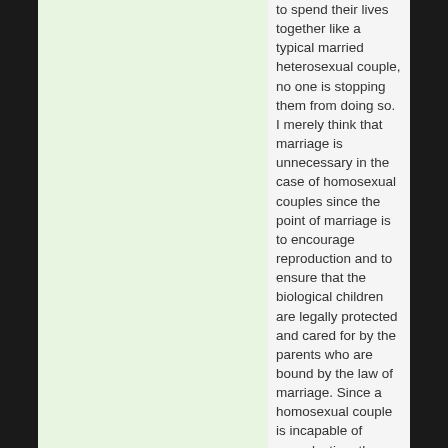to spend their lives together like a typical married heterosexual couple, no one is stopping them from doing so. I merely think that marriage is unnecessary in the case of homosexual couples since the point of marriage is to encourage reproduction and to ensure that the biological children are legally protected and cared for by the parents who are bound by the law of marriage. Since a homosexual couple is incapable of reproduction, then marriage in that case would be superfluous/pointless since they can simply spend their lives together without getting married. The whole confusion/debate on this subject is due to the fact that marriage is often defined as a "status" that causes the illusion that married couples are superior to non-married couples, but this isn't the case IMO. The reason a lot